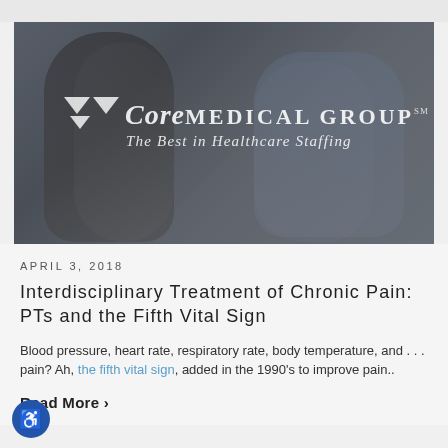[Figure (photo): Doctor and patient interacting warmly, with Core Medical Group logo overlay: 'Core MEDICAL GROUP – The Best in Healthcare Staffing']
APRIL 3, 2018
Interdisciplinary Treatment of Chronic Pain: PTs and the Fifth Vital Sign
Blood pressure, heart rate, respiratory rate, body temperature, and . . . pain? Ah, the fifth vital sign, added in the 1990's to improve pain..
Read More ›